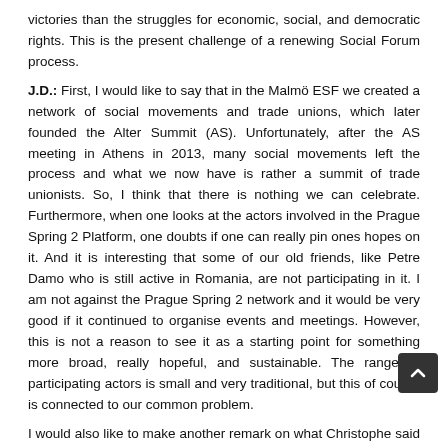victories than the struggles for economic, social, and democratic rights. This is the present challenge of a renewing Social Forum process.
J.D.: First, I would like to say that in the Malmö ESF we created a network of social movements and trade unions, which later founded the Alter Summit (AS). Unfortunately, after the AS meeting in Athens in 2013, many social movements left the process and what we now have is rather a summit of trade unionists. So, I think that there is nothing we can celebrate. Furthermore, when one looks at the actors involved in the Prague Spring 2 Platform, one doubts if one can really pin ones hopes on it. And it is interesting that some of our old friends, like Petre Damo who is still active in Romania, are not participating in it. I am not against the Prague Spring 2 network and it would be very good if it continued to organise events and meetings. However, this is not a reason to see it as a starting point for something more broad, really hopeful, and sustainable. The range of participating actors is small and very traditional, but this of course is connected to our common problem.
I would also like to make another remark on what Christophe said about the reasons why the ESF did not achieve its targets, agreeing that the main reason was our inability to develop a common strategy to fight against the European Union. It is true that we were not able to